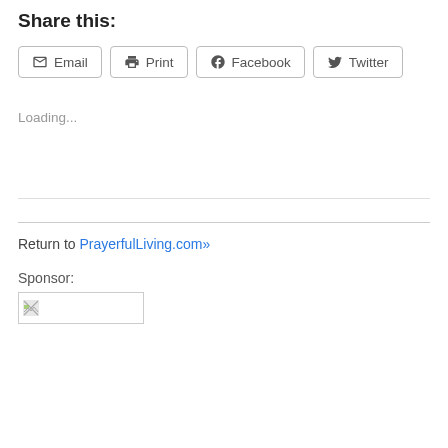Share this:
Email | Print | Facebook | Twitter
Loading...
Return to PrayerfulLiving.com»
Sponsor:
[Figure (other): Broken/placeholder sponsor image in a bordered rectangle]